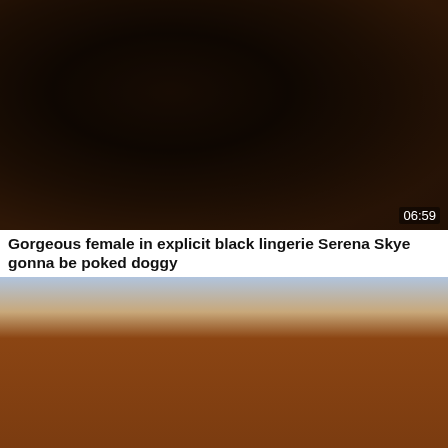[Figure (photo): Thumbnail of a video showing a person in black lingerie outdoors against a wooden fence background. Duration badge shows 06:59.]
Gorgeous female in explicit black lingerie Serena Skye gonna be poked doggy
[Figure (photo): Thumbnail of a video showing a dark-haired woman in a striped top leaning forward outdoors against a brick wall background.]